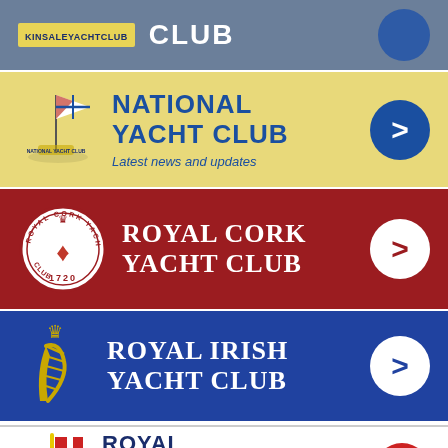[Figure (logo): Kinsale Yacht Club banner (partial top) - steel blue background with KINSALE YACHT CLUB logo and CLUB text]
[Figure (logo): National Yacht Club banner - yellow/gold background with flag logo, NATIONAL YACHT CLUB text in blue, 'Latest news and updates' subtitle, blue arrow button]
[Figure (logo): Royal Cork Yacht Club banner - dark red background with circular crest logo (1720), ROYAL CORK YACHT CLUB text in white, white arrow button]
[Figure (logo): Royal Irish Yacht Club banner - blue background with crown and harp logo, ROYAL IRISH YACHT CLUB text in white, white arrow button]
[Figure (logo): Royal St. George Yacht Club banner (partial bottom) - white background with red/white flag logo, ROYAL ST. GEORGE YACHT CLUB text in navy, red arrow button]